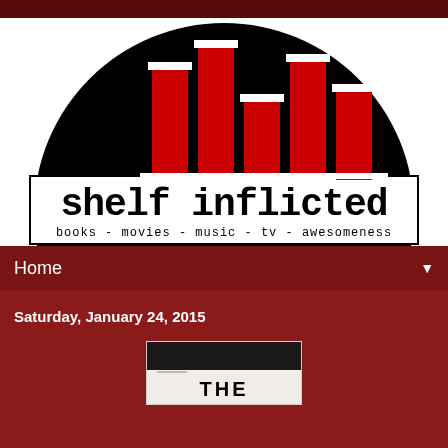[Figure (logo): Shelf Inflicted blog logo with black semicircle, red bar chart icons resembling books on a shelf, and text 'shelf inflicted' with subtitle 'books - movies - music - tv - awesomeness']
Home ▼
Saturday, January 24, 2015
[Figure (photo): Partial book cover image showing 'THE' text visible at the bottom of the page]